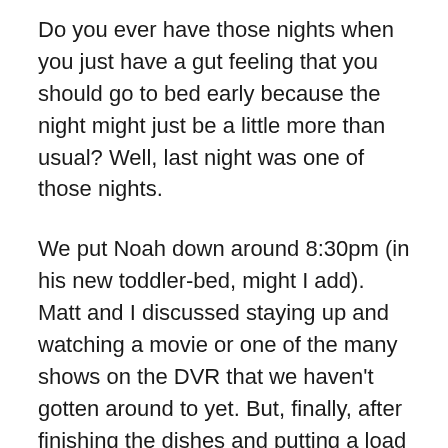Do you ever have those nights when you just have a gut feeling that you should go to bed early because the night might just be a little more than usual? Well, last night was one of those nights.
We put Noah down around 8:30pm (in his new toddler-bed, might I add). Matt and I discussed staying up and watching a movie or one of the many shows on the DVR that we haven't gotten around to yet. But, finally, after finishing the dishes and putting a load of clothes in the dryer, decided we were just too tired and got in bed around 9:30pm.
At 11:30pm, I hear that sound come over the baby monitor that every mother knows. It is the shrill scream/cry that bellows “Come and get me right now! I don’t know exactly